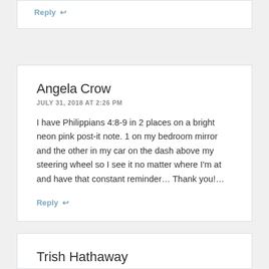Reply ↩
Angela Crow
JULY 31, 2018 AT 2:26 PM
I have Philippians 4:8-9 in 2 places on a bright neon pink post-it note. 1 on my bedroom mirror and the other in my car on the dash above my steering wheel so I see it no matter where I'm at and have that constant reminder… Thank you!…
Reply ↩
Trish Hathaway